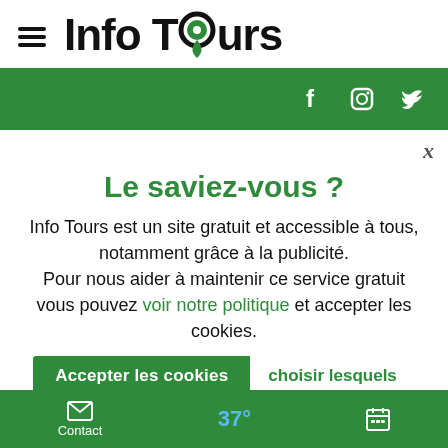[Figure (logo): Info Tours logo with hamburger menu icon on left and green location pin replacing the letter O in 'Tours']
[Figure (screenshot): Green bar with social media icons (Facebook, Instagram, Twitter) on right side]
x
Le saviez-vous ?
Info Tours est un site gratuit et accessible à tous, notamment grâce à la publicité.
Pour nous aider à maintenir ce service gratuit vous pouvez voir notre politique et accepter les cookies.
Accepter les cookies    choisir lesquels
Contact    37°    (calendar icon)